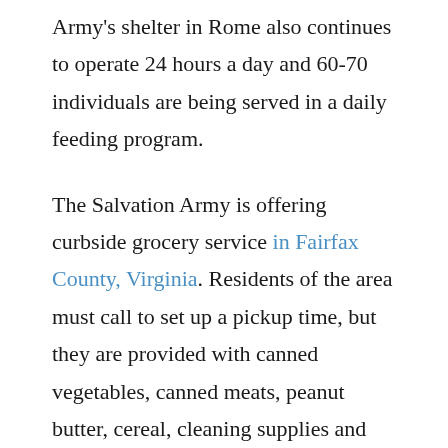Army's shelter in Rome also continues to operate 24 hours a day and 60-70 individuals are being served in a daily feeding program.
The Salvation Army is offering curbside grocery service in Fairfax County, Virginia. Residents of the area must call to set up a pickup time, but they are provided with canned vegetables, canned meats, peanut butter, cereal, cleaning supplies and fresh produce. More than 120 families were served in the first week of the initiative, with many more anticipated in the coming days.